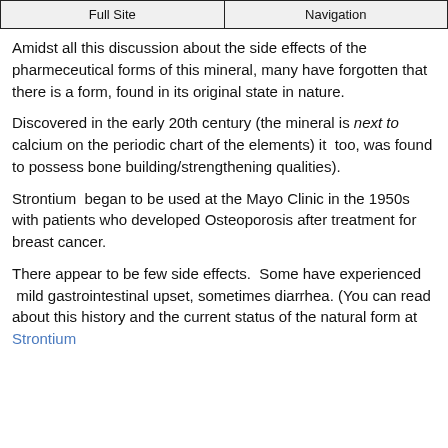Full Site | Navigation
Amidst all this discussion about the side effects of the pharmeceutical forms of this mineral, many have forgotten that there is a form, found in its original state in nature.
Discovered in the early 20th century (the mineral is next to calcium on the periodic chart of the elements) it  too, was found to possess bone building/strengthening qualities).
Strontium  began to be used at the Mayo Clinic in the 1950s with patients who developed Osteoporosis after treatment for breast cancer.
There appear to be few side effects.  Some have experienced  mild gastrointestinal upset, sometimes diarrhea. (You can read about this history and the current status of the natural form at Strontium